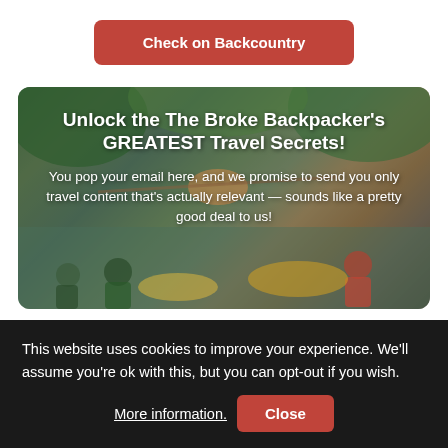Check on Backcountry
[Figure (illustration): Promotional banner with outdoor/nature background showing people relaxing, with headline 'Unlock the The Broke Backpacker's GREATEST Travel Secrets!' and body text about email subscription]
This website uses cookies to improve your experience. We'll assume you're ok with this, but you can opt-out if you wish. More information. Close